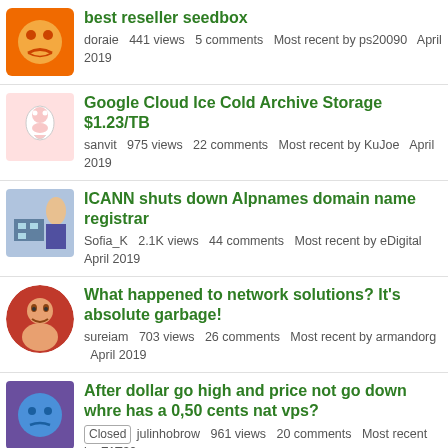best reseller seedbox
doraie 441 views 5 comments Most recent by ps20090 April 2019
Google Cloud Ice Cold Archive Storage $1.23/TB
sanvit 975 views 22 comments Most recent by KuJoe April 2019
ICANN shuts down Alpnames domain name registrar
Sofia_K 2.1K views 44 comments Most recent by eDigital April 2019
What happened to network solutions? It's absolute garbage!
sureiam 703 views 26 comments Most recent by armandorg April 2019
After dollar go high and price not go down whre has a 0,50 cents nat vps?
[Closed] julinhobrow 961 views 20 comments Most recent by FAT32 April 2019
Time4VPS Offer 90%Off 1 Month
amsaal 976 views 15 comments Most recent by willie April 2019
Is OpenVZ 7 like KVM or Xen?
rchurch 929 views 10 comments Most recent by Letzien April 2019